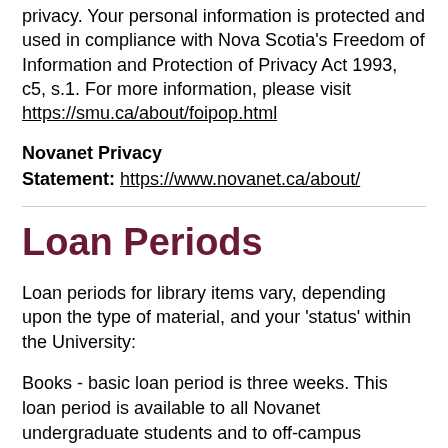privacy. Your personal information is protected and used in compliance with Nova Scotia's Freedom of Information and Protection of Privacy Act 1993, c5, s.1. For more information, please visit https://smu.ca/about/foipop.html
Novanet Privacy Statement: https://www.novanet.ca/about/
Loan Periods
Loan periods for library items vary, depending upon the type of material, and your 'status' within the University:
Books - basic loan period is three weeks. This loan period is available to all Novanet undergraduate students and to off-campus (community) borrowers